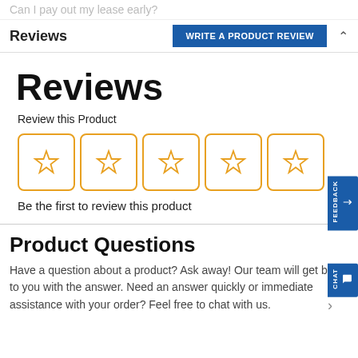Can I pay out my lease early?
Reviews
Reviews
Review this Product
[Figure (other): Five empty star rating boxes arranged in a row, with orange/gold outlined stars inside rounded-corner bordered boxes]
Be the first to review this product
Product Questions
Have a question about a product? Ask away! Our team will get back to you with the answer. Need an answer quickly or immediate assistance with your order? Feel free to chat with us.